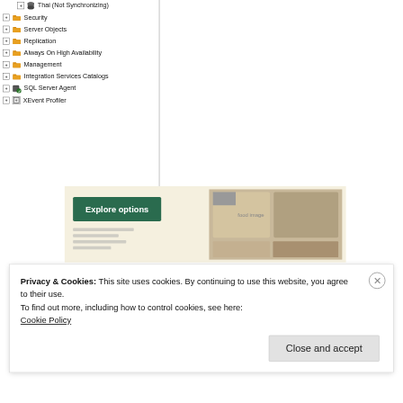Thai (Not Synchronizing)
Security
Server Objects
Replication
Always On High Availability
Management
Integration Services Catalogs
SQL Server Agent
XEvent Profiler
[Figure (screenshot): Advertisement banner with 'Explore options' button and food images]
Privacy & Cookies: This site uses cookies. By continuing to use this website, you agree to their use.
To find out more, including how to control cookies, see here:
Cookie Policy
Close and accept